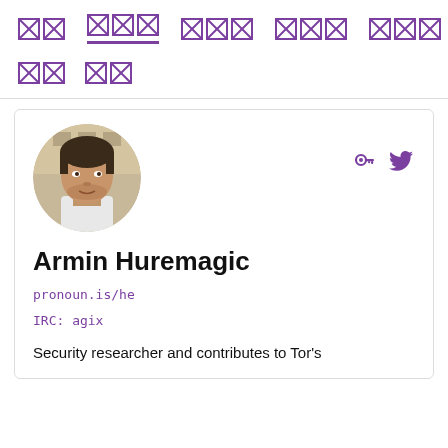[nav icons row with broken image placeholders]
[sub nav icons row]
[Figure (photo): Circular profile photo of Armin Huremagic, a man with short dark hair and stubble, wearing a white shirt, with a building in the background]
Armin Huremagic
pronoun.is/he
IRC: agix
Security researcher and contributes to Tor's